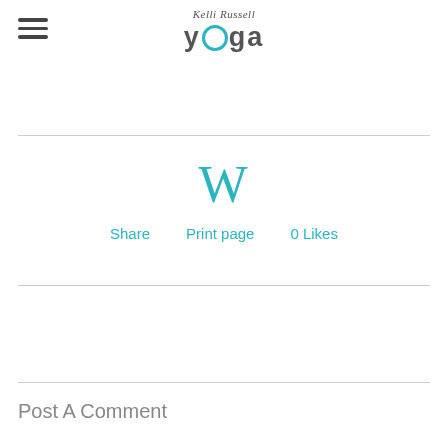Kelli Russell YOGA
W
Share   Print page   0 Likes
Post A Comment